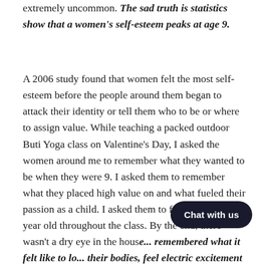extremely uncommon. The sad truth is statistics show that a women's self-esteem peaks at age 9.
A 2006 study found that women felt the most self-esteem before the people around them began to attack their identity or tell them who to be or where to assign value. While teaching a packed outdoor Buti Yoga class on Valentine's Day, I asked the women around me to remember what they wanted to be when they were 9. I asked them to remember what they placed high value on and what fueled their passion as a child. I asked them to focus on that 9 year old throughout the class. By the end, there wasn't a dry eye in the house... remembered what it felt like to lo... their bodies, feel electric excitement when